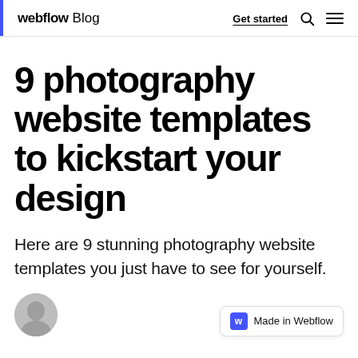webflow Blog — Get started
9 photography website templates to kickstart your design
Here are 9 stunning photography website templates you just have to see for yourself.
[Figure (photo): Circular avatar photo of a person, partially visible at bottom left]
[Figure (logo): Made in Webflow badge with blue W icon]